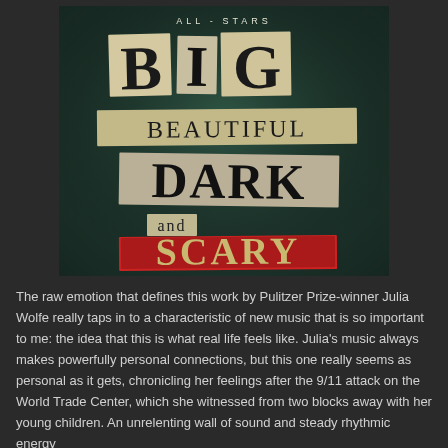[Figure (illustration): Album cover for 'Big Beautiful Dark and Scary' by All-Stars. Dark teal/green background with ransom-note style cut-out letters spelling out the title. 'ALL-STARS' at top in small white spaced letters. 'BIG' in large vintage block letters on yellowed paper. 'BEAUTIFUL' in smaller mixed serif letters. 'DARK' in large ornate serif letters. 'and' in small letters. 'SCARY' in large red-backed distressed letters.]
The raw emotion that defines this work by Pulitzer Prize-winner Julia Wolfe really taps in to a characteristic of new music that is so important to me: the idea that this is what real life feels like. Julia's music always makes powerfully personal connections, but this one really seems as personal as it gets, chronicling her feelings after the 9/11 attack on the World Trade Center, which she witnessed from two blocks away with her young children. An unrelenting wall of sound and steady rhythmic energy